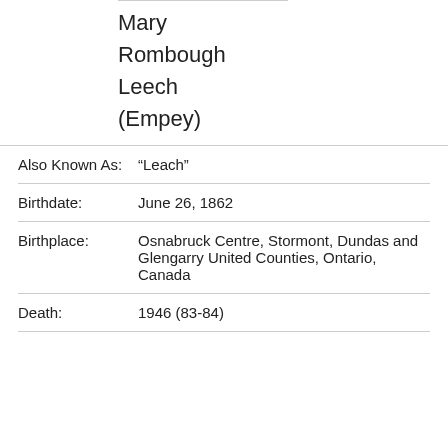Mary Rombough Leech (Empey)
| Field | Value |
| --- | --- |
| Also Known As: | “Leach” |
| Birthdate: | June 26, 1862 |
| Birthplace: | Osnabruck Centre, Stormont, Dundas and Glengarry United Counties, Ontario, Canada |
| Death: | 1946 (83-84) |